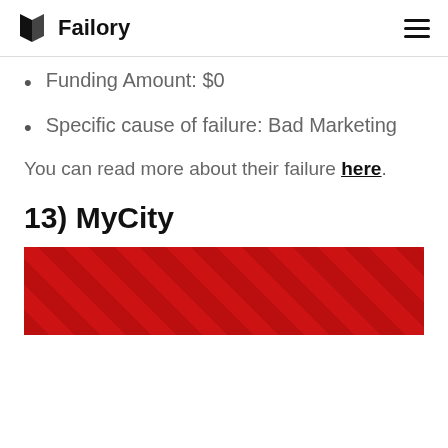Failory
Funding Amount: $0
Specific cause of failure: Bad Marketing
You can read more about their failure here.
13) MyCity
[Figure (photo): Red background image for MyCity section, partially visible at the bottom of the page.]